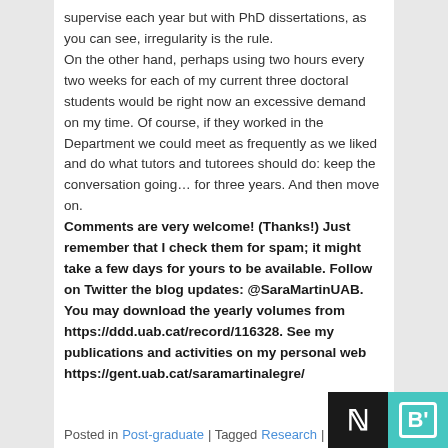supervise each year but with PhD dissertations, as you can see, irregularity is the rule.
On the other hand, perhaps using two hours every two weeks for each of my current three doctoral students would be right now an excessive demand on my time. Of course, if they worked in the Department we could meet as frequently as we liked and do what tutors and tutorees should do: keep the conversation going… for three years. And then move on.
Comments are very welcome! (Thanks!) Just remember that I check them for spam; it might take a few days for yours to be available. Follow on Twitter the blog updates: @SaraMartinUAB. You may download the yearly volumes from https://ddd.uab.cat/record/116328. See my publications and activities on my personal web https://gent.uab.cat/saramartinalegre/
Posted in Post-graduate | Tagged Research | 2 Repl…